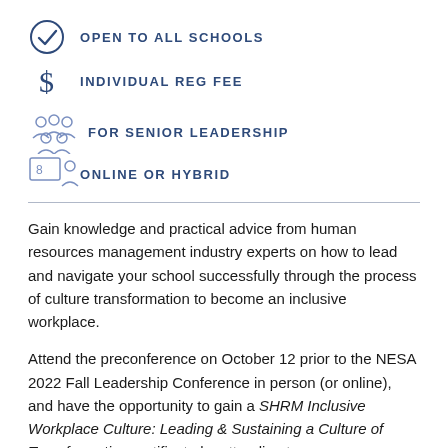OPEN TO ALL SCHOOLS
INDIVIDUAL REG FEE
FOR SENIOR LEADERSHIP
ONLINE OR HYBRID
Gain knowledge and practical advice from human resources management industry experts on how to lead and navigate your school successfully through the process of culture transformation to become an inclusive workplace.
Attend the preconference on October 12 prior to the NESA 2022 Fall Leadership Conference in person (or online), and have the opportunity to gain a SHRM Inclusive Workplace Culture: Leading & Sustaining a Culture of Transformation certificate by attending two